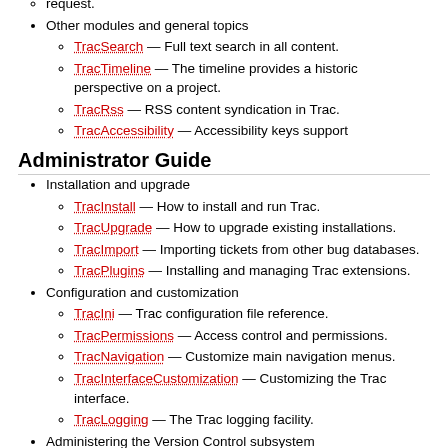request.
Other modules and general topics
TracSearch — Full text search in all content.
TracTimeline — The timeline provides a historic perspective on a project.
TracRss — RSS content syndication in Trac.
TracAccessibility — Accessibility keys support
Administrator Guide
Installation and upgrade
TracInstall — How to install and run Trac.
TracUpgrade — How to upgrade existing installations.
TracImport — Importing tickets from other bug databases.
TracPlugins — Installing and managing Trac extensions.
Configuration and customization
TracIni — Trac configuration file reference.
TracPermissions — Access control and permissions.
TracNavigation — Customize main navigation menus.
TracInterfaceCustomization — Customizing the Trac interface.
TracLogging — The Trac logging facility.
Administering the Version Control subsystem
TracRepositoryAdmin — Management of Source Code Repositories.
Administering the Ticket subsystem